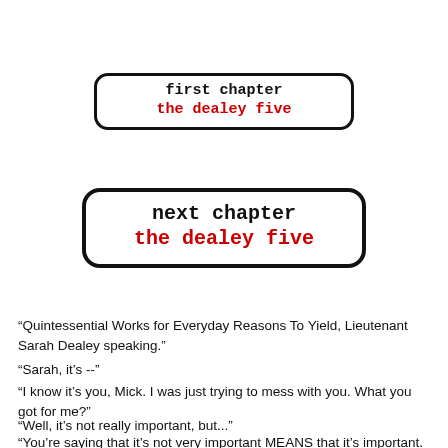[Figure (other): Navigation button box: 'first chapter / the dealey five' in monospace font with red subtitle, rounded border]
[Figure (other): Navigation button box: 'next chapter / the dealey five' in monospace font with red subtitle, thick rounded border]
“Quintessential Works for Everyday Reasons To Yield, Lieutenant Sarah Dealey speaking.”
“Sarah, it’s --”
“I know it’s you, Mick. I was just trying to mess with you. What you got for me?”
“Well, it’s not really important, but...”
“You’re saying that it’s not very important MEANS that it’s important. You know me, Mick. I’m in charge of an entire quadrant here at QWERTY. And I don’t have time to play...